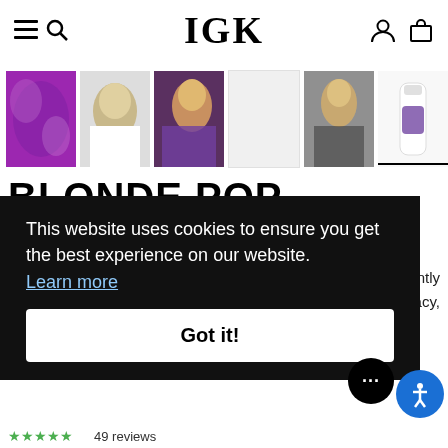IGK
[Figure (screenshot): Row of 6 product thumbnails: purple texture, curly blonde hair model, pink-lit blonde model, blank gray, blonde model outdoors, product bottle with purple label]
BLONDE POP
This website uses cookies to ensure you get the best experience on our website.
Learn more
Got it!
...stantly
...acy,
49 reviews